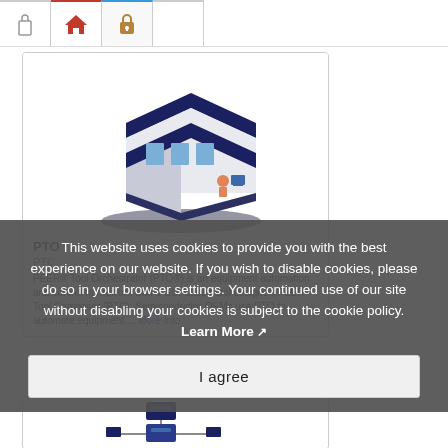[Figure (screenshot): Navigation bar with lock icon, home icon, and padlock icon tabs]
[Figure (illustration): Isometric illustration of a building/office with a person working at a computer outside]
PTO
PTC
PEER® Tool Orchestrator (PTO®) is an equipment automation and control framework with a GUI-based tool designer, PEER Tool Composer (PTC). Semiconductor OEMs use PTO to automate equipment.... More Info
This website uses cookies to provide you with the best experience on our website. If you wish to disable cookies, please do so in your browser settings. Your continued use of our site without disabling your cookies is subject to the cookie policy. Learn More
I agree
[Figure (illustration): Partial view of a second product card with a network/server illustration]